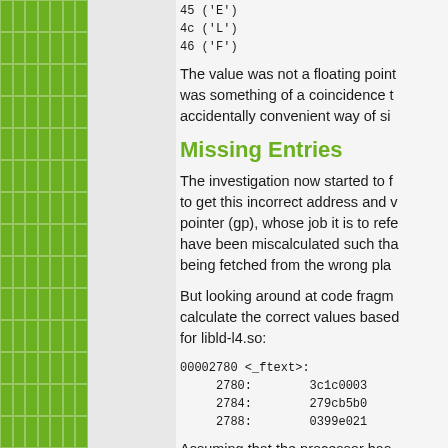[Figure (other): Green grid panel on left side of page]
45 ('E')
4c ('L')
46 ('F')
The value was not a floating point was something of a coincidence t accidentally convenient way of si
Missing Entries
The investigation now started to f to get this incorrect address and v pointer (gp), whose job it is to refe have been miscalculated such tha being fetched from the wrong pla
But looking around at code fragm calculate the correct values based for libld-l4.so:
00002780 <_ftext>:
     2780:        3c1c0003
     2784:        279cb5b0
     2788:        0399e021
Assuming that the processor has following calculation is then perfo
gp = 0x30000 (since lui loads 1
gp = gp - 19024 = 0x30000 - 19